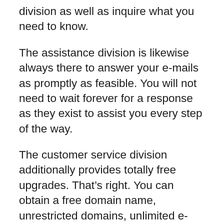division as well as inquire what you need to know.
The assistance division is likewise always there to answer your e-mails as promptly as feasible. You will not need to wait forever for a response as they exist to assist you every step of the way.
The customer service division additionally provides totally free upgrades. That’s right. You can obtain a free domain name, unrestricted domains, unlimited e-mail accounts, unlimited blog sites, unlimited shopping carts, as well as unrestricted data sources and content administration systems free of charge.